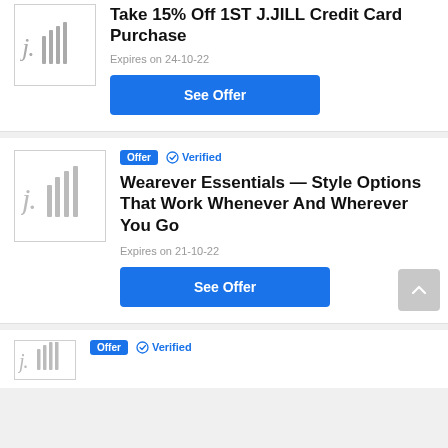[Figure (logo): J.Jill logo in grey]
Take 15% Off 1ST J.JILL Credit Card Purchase
Expires on 24-10-22
See Offer
[Figure (logo): J.Jill logo in grey]
Offer  Verified
Wearever Essentials — Style Options That Work Whenever And Wherever You Go
Expires on 21-10-22
See Offer
[Figure (logo): J.Jill logo in grey (partially visible)]
Offer  Verified